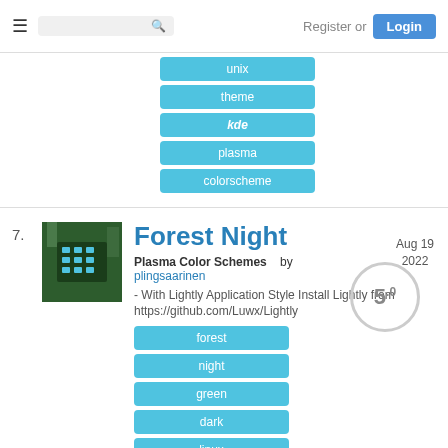Register or Login
unix
theme
kde
plasma
colorscheme
7.
Forest Night
Plasma Color Schemes    by plingsaarinen
- With Lightly Application Style Install Lightly from https://github.com/Luwx/Lightly
5.0
Aug 19
2022
forest
night
green
dark
linux
unix
theme